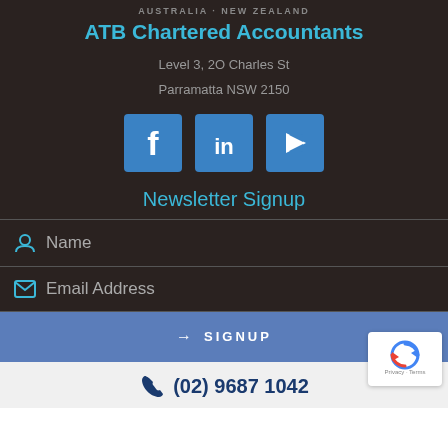AUSTRALIA · NEW ZEALAND
ATB Chartered Accountants
Level 3, 2O Charles St
Parramatta NSW 2150
[Figure (infographic): Three social media icons: Facebook, LinkedIn, YouTube — each in a blue square tile]
Newsletter Signup
Name (form field)
Email Address (form field)
→ SIGNUP (button)
(02) 9687 1042
[Figure (logo): Google reCAPTCHA badge with spinning arrows logo and Privacy · Terms text]